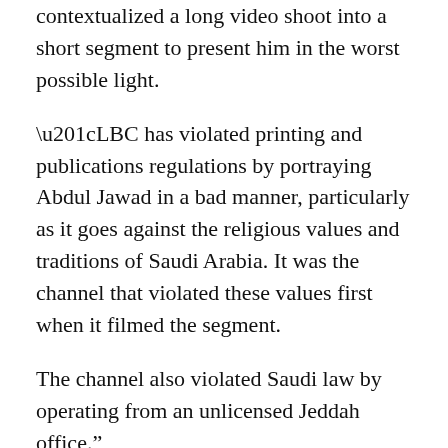contextualized a long video shoot into a short segment to present him in the worst possible light.
“LBC has violated printing and publications regulations by portraying Abdul Jawad in a bad manner, particularly as it goes against the religious values and traditions of Saudi Arabia. It was the channel that violated these values first when it filmed the segment.
The channel also violated Saudi law by operating from an unlicensed Jeddah office.”
The journalist, Rozanna al-Yami, 22, is believed to be the first female Saudi journalist to be given such a punishment. The charges included involvement in preparing the program and advertising it on the Internet. Ms. Yami said she had worked as a coordinator for the program but had not worked on the episode in question.